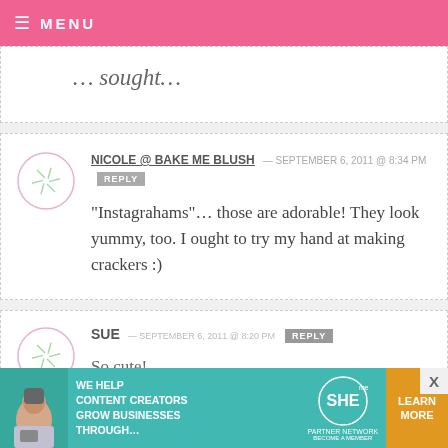MENU
... sought...
NICOLE @ BAKE ME BLUSH — SEPTEMBER 6, 2011 @ 8:34 PM REPLY
“Instagrahams”… those are adorable! They look yummy, too. I ought to try my hand at making crackers :)
SUE — SEPTEMBER 6, 2011 @ 8:20 PM REPLY
So cute!
[Figure (infographic): SHE Media Partner Network ad banner: WE HELP CONTENT CREATORS GROW BUSINESSES THROUGH... LEARN MORE]